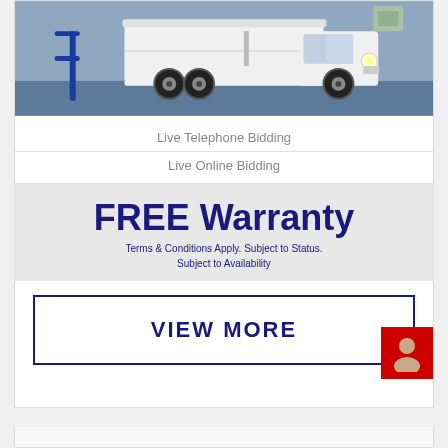[Figure (photo): White van/truck parked in an indoor facility with blue metal barrier on the left and blue floor visible]
Live Telephone Bidding
Live Online Bidding
FREE Warranty
Terms & Conditions Apply. Subject to Status. Subject to Availability
VIEW MORE